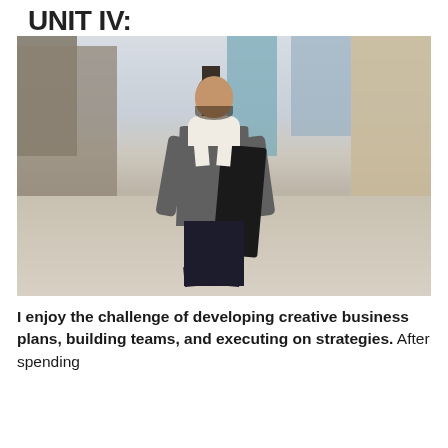UNIT IV:
[Figure (photo): A young professional man in a grey suit jacket carrying a dark overcoat walks confidently through an urban plaza with buildings and a clock tower in the background.]
I enjoy the challenge of developing creative business plans, building teams, and executing on strategies. After spending